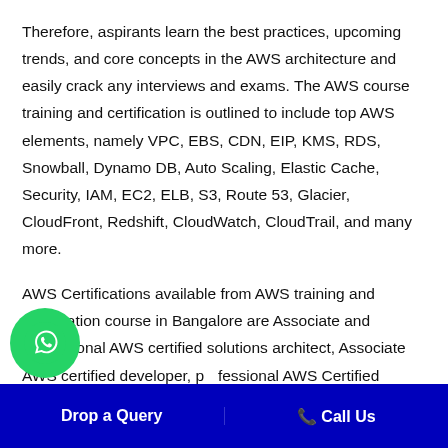Therefore, aspirants learn the best practices, upcoming trends, and core concepts in the AWS architecture and easily crack any interviews and exams. The AWS course training and certification is outlined to include top AWS elements, namely VPC, EBS, CDN, EIP, KMS, RDS, Snowball, Dynamo DB, Auto Scaling, Elastic Cache, Security, IAM, EC2, ELB, S3, Route 53, Glacier, CloudFront, Redshift, CloudWatch, CloudTrail, and many more.
AWS Certifications available from AWS training and certification course in Bangalore are Associate and professional AWS certified solutions architect, Associate AWS certified developer, professional AWS Certified DevOps engineer, and Associate AWS certified SysOps administrator. When it comes to job
Drop a Query   📞 Call Us